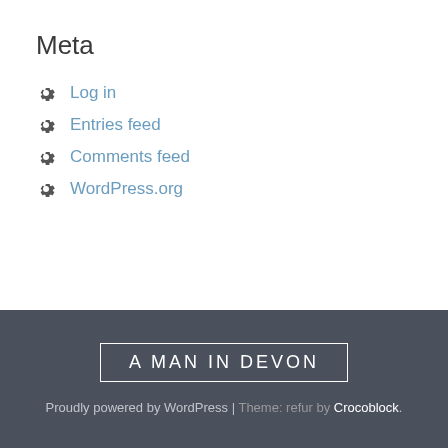Meta
Log in
Entries feed
Comments feed
WordPress.org
A MAN IN DEVON
Proudly powered by WordPress | Theme: refur by Crocoblock.